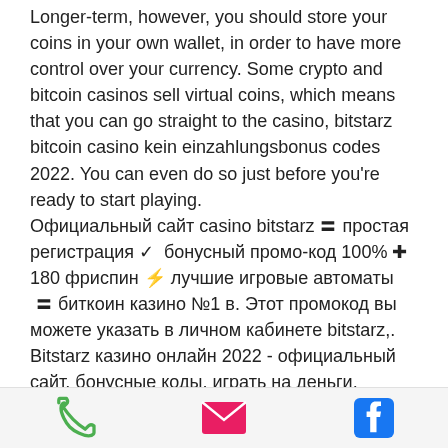Longer-term, however, you should store your coins in your own wallet, in order to have more control over your currency. Some crypto and bitcoin casinos sell virtual coins, which means that you can go straight to the casino, bitstarz bitcoin casino kein einzahlungsbonus codes 2022. You can even do so just before you're ready to start playing.
Официальный сайт casino bitstarz 〓 простая регистрация ✓ бонусный промо-код 100% ✚ 180 фриспин ⚡ лучшие игровые автоматы 〓 биткоин казино №1 в. Этот промокод вы можете указать в личном кабинете bitstarz,. Bitstarz казино онлайн 2022 - официальный сайт, бонусные коды, играть на деньги. Бонусы казино, автоматы, игры. Проверенные бонусы в казино в bitstarz – безлепозитные за регистрацию.
phone | email | facebook